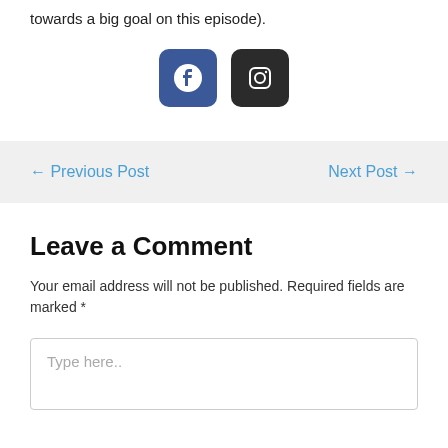towards a big goal on this episode).
[Figure (logo): Facebook icon (blue rounded square) and Instagram icon (dark rounded square) side by side]
← Previous Post
Next Post →
Leave a Comment
Your email address will not be published. Required fields are marked *
Type here..